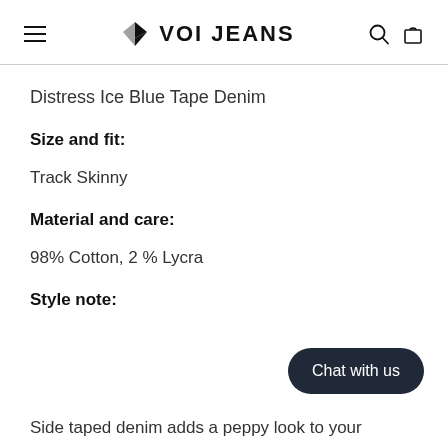VOI JEANS
Distress Ice Blue Tape Denim
Size and fit:
Track Skinny
Material and care:
98% Cotton, 2 % Lycra
Style note:
Side taped denim adds a peppy look to your
Chat with us